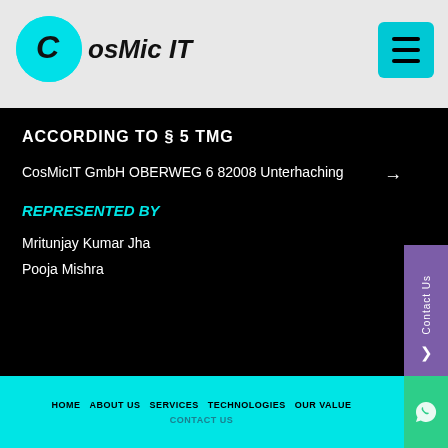CosMic IT
ACCORDING TO § 5 TMG
CosMicIT GmbH OBERWEG 6 82008 Unterhaching
REPRESENTED BY
Mritunjay Kumar Jha
Pooja Mishra
HOME  ABOUT US  SERVICES  TECHNOLOGIES  OUR VALUE  CONTACT US
© Copyright CosMic-IT. All Rights Reserved